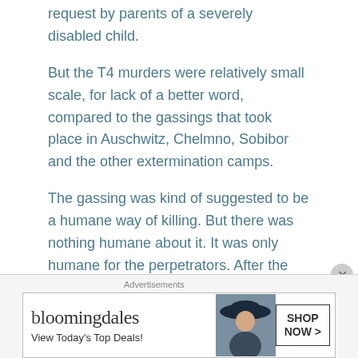request by parents of a severely disabled child.
But the T4 murders were relatively small scale, for lack of a better word, compared to the gassings that took place in Auschwitz, Chelmno, Sobibor and the other extermination camps.
The gassing was kind of suggested to be a humane way of killing. But there was nothing humane about it. It was only humane for the perpetrators. After the June 1941 German invasion of the Soviet Union and Einsatzgruppe mass shootings of civilians, the Nazis experimented with gas vans for mass killing. Gas vans were hermetically sealed trucks with engine exhaust diverted to the interior compartment. Use of gas vans began after Einsatzgruppe
[Figure (other): Advertisement banner for Bloomingdale's showing logo, tagline 'View Today's Top Deals!', a model with a large hat, and a 'SHOP NOW >' button. Labeled 'Advertisements' at top.]